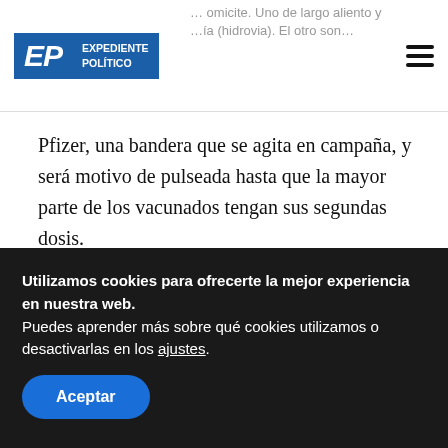EXPEDIENTE POLÍTICO
Pfizer, una bandera que se agita en campaña, y será motivo de pulseada hasta que la mayor parte de los vacunados tengan sus segundas dosis.
Alberto , Carla Vizzotti , pfizer , vilma ibarra
Utilizamos cookies para ofrecerte la mejor experiencia en nuestra web. Puedes aprender más sobre qué cookies utilizamos o desactivarlas en los ajustes.
Aceptar